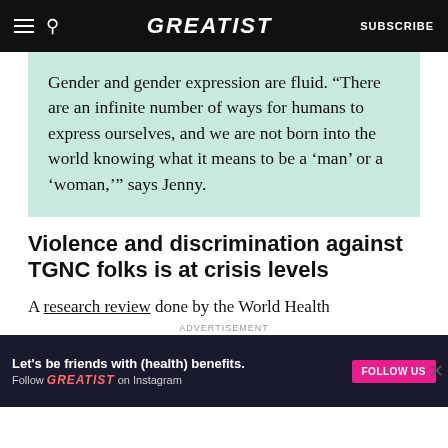GREATIST | SUBSCRIBE
Gender and gender expression are fluid. “There are an infinite number of ways for humans to express ourselves, and we are not born into the world knowing what it means to be a ‘man’ or a ‘woman,’” says Jenny.
Violence and discrimination against TGNC folks is at crisis levels
A research review done by the World Health
ADVERTISEMENT
[Figure (screenshot): Advertisement banner: 'Let’s be friends with (health) benefits. Follow GREATIST on Instagram' with a pink FOLLOW US button on dark background.]